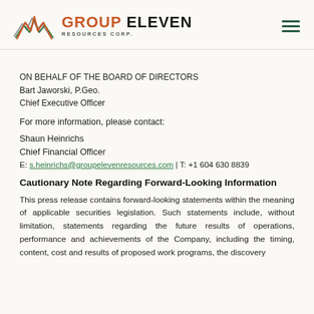[Figure (logo): Group Eleven Resources Corp. logo with mountain graphic in orange, green, and gray, and company name in bold dark text]
ON BEHALF OF THE BOARD OF DIRECTORS
Bart Jaworski, P.Geo.
Chief Executive Officer
For more information, please contact:
Shaun Heinrichs
Chief Financial Officer
E: s.heinrichs@groupelevenresources.com | T: +1 604 630 8839
Cautionary Note Regarding Forward-Looking Information
This press release contains forward-looking statements within the meaning of applicable securities legislation. Such statements include, without limitation, statements regarding the future results of operations, performance and achievements of the Company, including the timing, content, cost and results of proposed work programs, the discovery